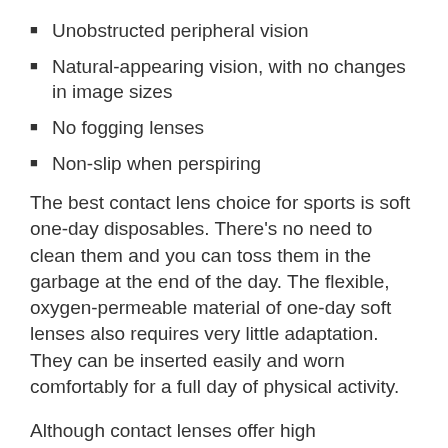Unobstructed peripheral vision
Natural-appearing vision, with no changes in image sizes
No fogging lenses
Non-slip when perspiring
The best contact lens choice for sports is soft one-day disposables. There's no need to clean them and you can toss them in the garbage at the end of the day. The flexible, oxygen-permeable material of one-day soft lenses also requires very little adaptation. They can be inserted easily and worn comfortably for a full day of physical activity.
Although contact lenses offer high convenience and comfort, there are still a number of disadvantages with wearing contacts for sports. No protection against eye injury is provided and they don't offer sufficient UV